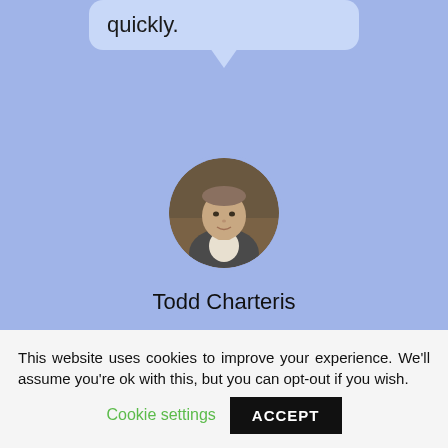quickly.
[Figure (photo): Circular portrait photo of Todd Charteris, a man in a suit, against a background with shelves.]
Todd Charteris
National Manager Country Banking -Rabobank
This website uses cookies to improve your experience. We'll assume you're ok with this, but you can opt-out if you wish. Cookie settings ACCEPT